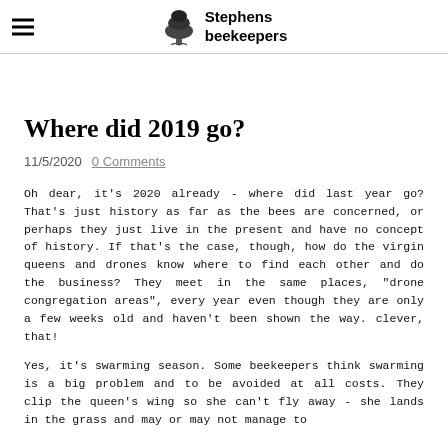Stephens beekeepers
Where did 2019 go?
11/5/2020  0 Comments
Oh dear, it's 2020 already - where did last year go?  That's just history as far as the bees are concerned, or perhaps they just live in the present and have no concept of history.  If that's the case, though, how do the virgin queens and drones know where to find each other and do the business?  They meet in the same places, "drone congregation areas", every year even though they are only a few weeks old and haven't been shown the way.  clever, that!
Yes, it's swarming season.  Some beekeepers think swarming is a big problem and to be avoided at all costs.  They clip the queen's wing so she can't fly away - she lands in the grass and may or may not manage to